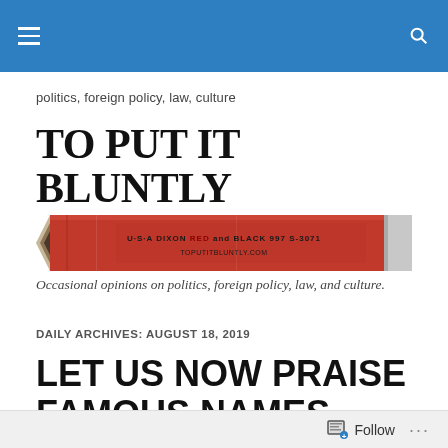[Navigation bar with hamburger menu and search icon]
politics, foreign policy, law, culture
[Figure (illustration): Blog header image showing large bold text 'TO PUT IT BLUNTLY' above a red and black Dixon pencil, with italic subtitle 'Occasional opinions on politics, foreign policy, law, and culture.']
DAILY ARCHIVES: AUGUST 18, 2019
LET US NOW PRAISE FAMOUS NAMES
Follow